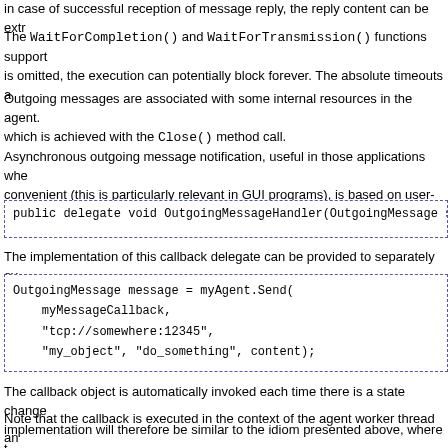in case of successful reception of message reply, the reply content can be extr
The WaitForCompletion() and WaitForTransmission() functions support a timeout parameter. If it is omitted, the execution can potentially block forever. The absolute timeouts a
Outgoing messages are associated with some internal resources in the agent. These resources need to be freed, which is achieved with the Close() method call.
Asynchronous outgoing message notification, useful in those applications where blocking is not convenient (this is particularly relevant in GUI programs), is based on user-pro
public delegate void OutgoingMessageHandler(OutgoingMessage s
The implementation of this callback delegate can be provided to separately ov
OutgoingMessage message = myAgent.Send(
    myMessageCallback,
    "tcp://somewhere:12345",
    "my_object", "do_something", content);
The callback object is automatically invoked each time there is a state change in the message. The implementation will therefore be similar to the idiom presented above, where t
Note that the callback is executed in the context of the agent worker thread and it should not prevent the agent worker thread from making progress with other tasks. It is safe to call no
The outgoing message object can still be explicitly Close()d if the message is closed early to avoid resource leaks in case the message reply or rejection is known to never arrive. The outg